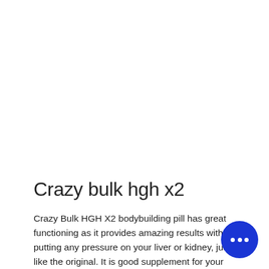Crazy bulk hgh x2
Crazy Bulk HGH X2 bodybuilding pill has great functioning as it provides amazing results without putting any pressure on your liver or kidney, just like the original. It is good supplement for your body, and is the products that can get you through a long